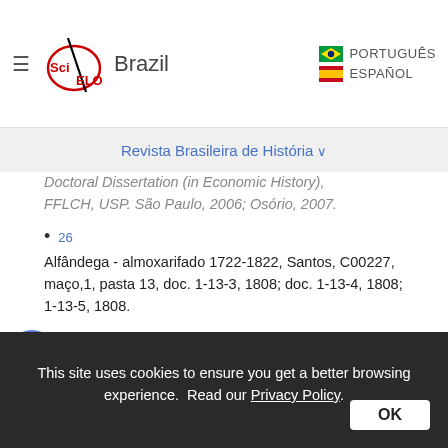SciELO Brazil | PORTUGUÊS | ESPAÑOL
Revista Brasileira de História
Doctoral Dissertation (in Economic History), FFLCH, USP. São Paulo, 2006; Osório, 2007.
26
Alfândega - almoxarifado 1722-1822, Santos, C00227, maço,1, pasta 13, doc. 1-13-3, 1808; doc. 1-13-4, 1808; 1-13-5, 1808.
27
Autos-cíveis de exame e vistoria feita numa sumaca espanhola... neste porto apresada pelo brigue inglês de que he mestre Thomas Taylor. Apesp, ordem 236, cx. 10, doc. 10-6-46, 1806.
This site uses cookies to ensure you get a better browsing experience. Read our Privacy Policy.